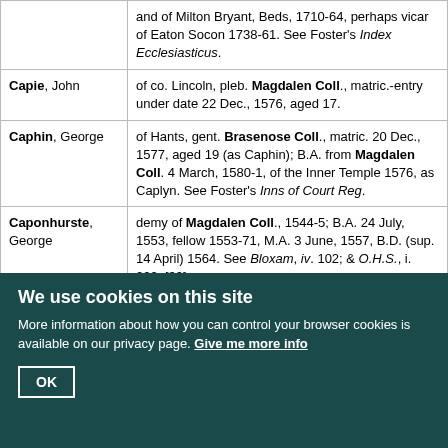| Name | Entry |
| --- | --- |
|  | and of Milton Bryant, Beds, 1710-64, perhaps vicar of Eaton Socon 1738-61. See Foster's Index Ecclesiasticus. |
| Capie, John | of co. Lincoln, pleb. Magdalen Coll., matric.-entry under date 22 Dec., 1576, aged 17. |
| Caphin, George | of Hants, gent. Brasenose Coll., matric. 20 Dec., 1577, aged 19 (as Caphin); B.A. from Magdalen Coll. 4 March, 1580-1, of the Inner Temple 1576, as Caplyn. See Foster's Inns of Court Reg. |
| Caponhurste, George | demy of Magdalen Coll., 1544-5; B.A. 24 July, 1553, fellow 1553-71, M.A. 3 June, 1557, B.D. (sup. 14 April) 1564. See Bloxam, iv. 102; & O.H.S., i. 220. [30] |
| Caponhurste, George | of Bucks, pleb. Magdalen Coll., matric.-entry under date 1571, aged 17; chorister 1569-75. See Bloxam, |
We use cookies on this site
More information about how you can control your browser cookies is available on our privacy page. Give me more info